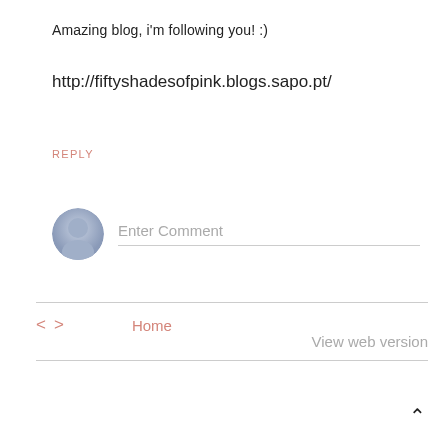Amazing blog, i'm following you! :)
http://fiftyshadesofpink.blogs.sapo.pt/
REPLY
Enter Comment
< >
Home
View web version
^